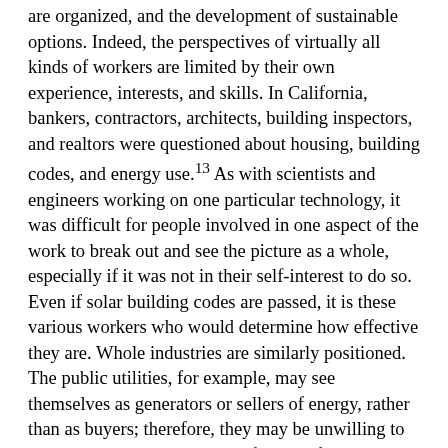are organized, and the development of sustainable options. Indeed, the perspectives of virtually all kinds of workers are limited by their own experience, interests, and skills. In California, bankers, contractors, architects, building inspectors, and realtors were questioned about housing, building codes, and energy use.13 As with scientists and engineers working on one particular technology, it was difficult for people involved in one aspect of the work to break out and see the picture as a whole, especially if it was not in their self-interest to do so. Even if solar building codes are passed, it is these various workers who would determine how effective they are. Whole industries are similarly positioned. The public utilities, for example, may see themselves as generators or sellers of energy, rather than as buyers; therefore, they may be unwilling to purchase alternative sources of energy from alternative providers.
Enumerating barriers is to recognize the realities of any sustainable energy thrust. Uncertainty in the workplace, particularly among high status workers, such as scientists and executives, leads to conservatism, denial of resource uncertainties